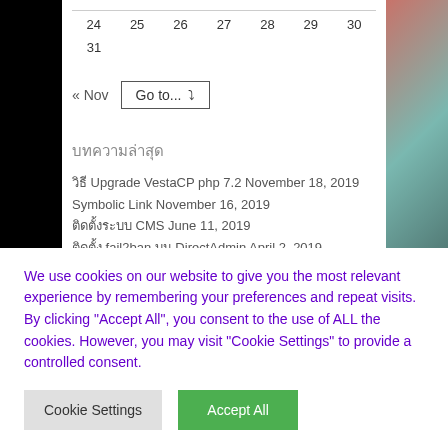| 24 | 25 | 26 | 27 | 28 | 29 | 30 |
| --- | --- | --- | --- | --- | --- | --- |
| 31 |  |  |  |  |  |  |
« Nov   Go to... ▾
บทความล่าสุด
วิธี Upgrade VestaCP php 7.2 November 18, 2019
Symbolic Link November 16, 2019
ติดตั้งระบบ CMS June 11, 2019
ติดตั้ง fail2ban บน DirectAdmin April 2, 2019
แก้ปัญหา Let's Encrypt HTTP/1.1 400 Bad
We use cookies on our website to give you the most relevant experience by remembering your preferences and repeat visits. By clicking "Accept All", you consent to the use of ALL the cookies. However, you may visit "Cookie Settings" to provide a controlled consent.